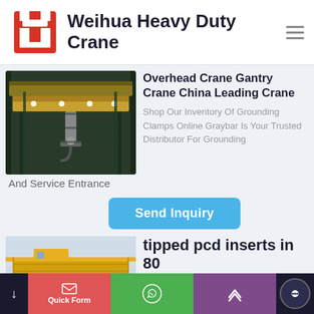Weihua Heavy Duty Crane
[Figure (photo): Overhead crane in an industrial facility, large yellow crane structure visible in a tall warehouse with steel framework]
Overhead Crane Gantry Crane China Leading Crane
Shop Our Inventory Of Grounding Clamps Online Graybar Is Your Trusted Distributor For Grounding And Service Entrance
Send Inquiry
[Figure (photo): Yellow overhead/gantry crane partially visible at the bottom of the page]
tipped pcd inserts in 80
Quick Form | WhatsApp | Up | Chat